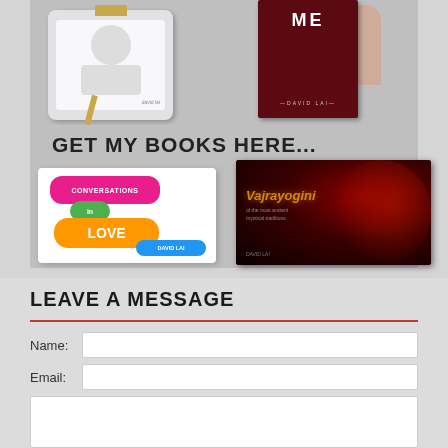[Figure (illustration): Book covers display banner with 'GET MY BOOKS HERE...' text and four book covers: a clipboard-style book, a dark red book with hand, 'Conversations in Love' with speech bubbles, and 'Vajrayogini' dark cover]
GET MY BOOKS HERE...
LEAVE A MESSAGE
Name:
Email: